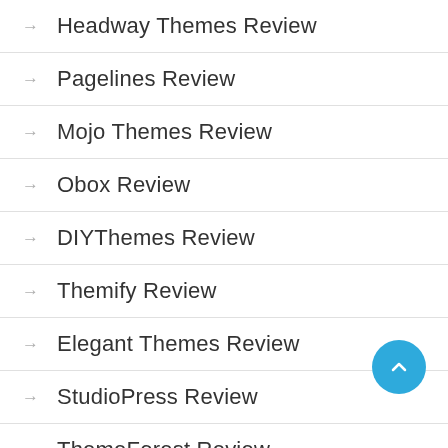→ Headway Themes Review
→ Pagelines Review
→ Mojo Themes Review
→ Obox Review
→ DIYThemes Review
→ Themify Review
→ Elegant Themes Review
→ StudioPress Review
→ ThemeForest Review